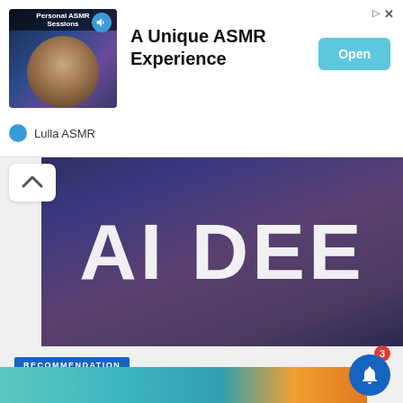[Figure (screenshot): Ad banner for Lulla ASMR app: 'A Unique ASMR Experience' with Open button, person thumbnail, and sound icon]
[Figure (photo): Large dark background image with bold white text reading 'AI DEEP' partially visible]
RECOMMENDATION
Sparks fly when a Haryanvi interviews a Tamilian in Hindi
[Figure (photo): Partial teaser image at bottom of screen with teal and orange colors]